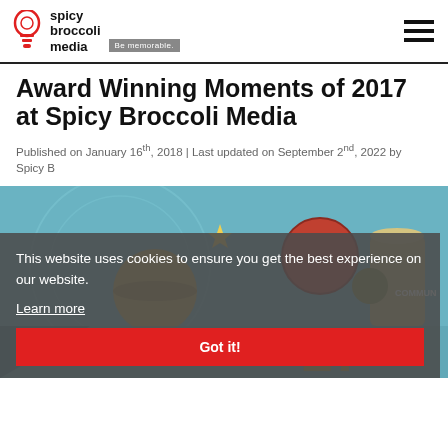spicy broccoli media — Be memorable.
Award Winning Moments of 2017 at Spicy Broccoli Media
Published on January 16th, 2018 | Last updated on September 2nd, 2022 by Spicy B
[Figure (illustration): Colorful illustrated graphic showing planets, spheres and typographic design elements on a blue background, related to 2017 award winning work]
This website uses cookies to ensure you get the best experience on our website.
Learn more
Got it!